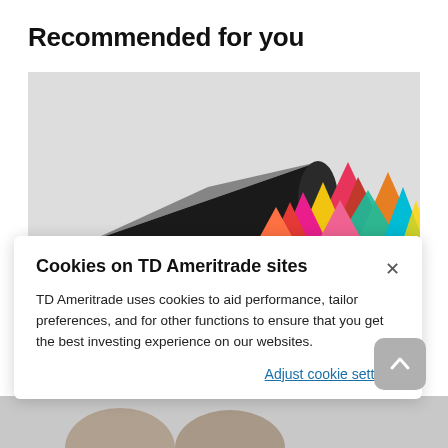Recommended for you
[Figure (illustration): A black cone tipped on its side spilling out colorful triangular/pyramidal shapes in pink, red, orange, yellow, teal, and blue on a light gray background.]
Cookies on TD Ameritrade sites
TD Ameritrade uses cookies to aid performance, tailor preferences, and for other functions to ensure that you get the best investing experience on our websites.
Adjust cookie settings